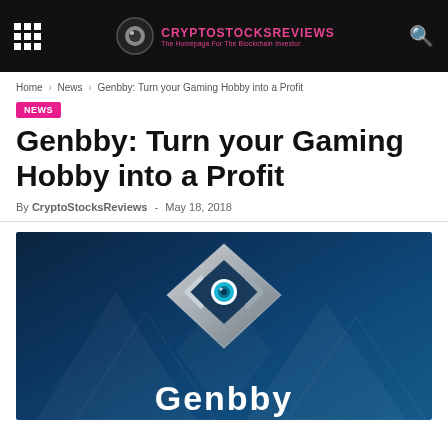CryptoStocksReviews — The Homepage For The Blockchain Investor
Home › News › Genbby: Turn your Gaming Hobby into a Profit
NEWS
Genbby: Turn your Gaming Hobby into a Profit
By CryptoStocksReviews - May 18, 2018
[Figure (illustration): Genbby logo on a dark blue background with geometric diamond shapes. A metallic diamond-shaped logo with an eye in the center. The word 'Genbby' appears in large white text at the bottom.]